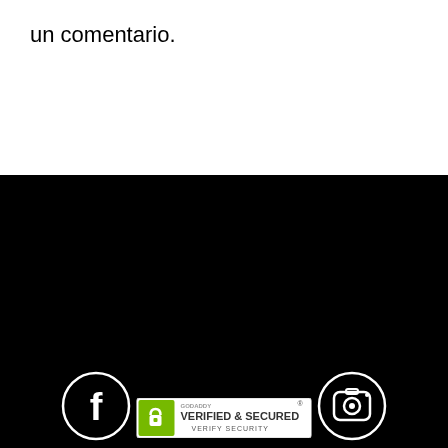un comentario.
[Figure (logo): Facebook icon in white circle outline on black background]
[Figure (logo): Instagram icon in white circle outline on black background]
Tel.: 2664 855373 - Balcarce 791 San Luis - Argentina
[Figure (logo): Baboons co. logo with baboon silhouette on black background]
un producto de
[Figure (logo): GoDaddy Verified & Secured badge]